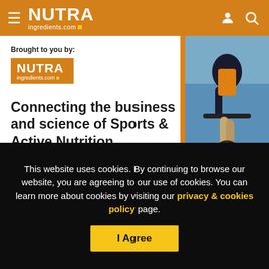NUTRAingredients.com
[Figure (screenshot): NutraIngredients promotional banner: 'Brought to you by NUTRAingredients.com — Connecting the business and science of Sports & Active Nutrition' with a cyclist photo on the right and orange stripe]
Now the company says the data from its first six months of
This website uses cookies. By continuing to browse our website, you are agreeing to our use of cookies. You can learn more about cookies by visiting our privacy & cookies policy page.
I Agree